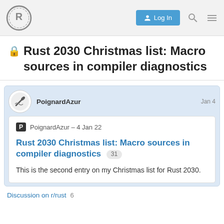Rust Forum – Log In
🔒 Rust 2030 Christmas list: Macro sources in compiler diagnostics
PoignardAzur   Jan 4
P PoignardAzur – 4 Jan 22
Rust 2030 Christmas list: Macro sources in compiler diagnostics 31
This is the second entry on my Christmas list for Rust 2030.
Discussion on r/rust  6